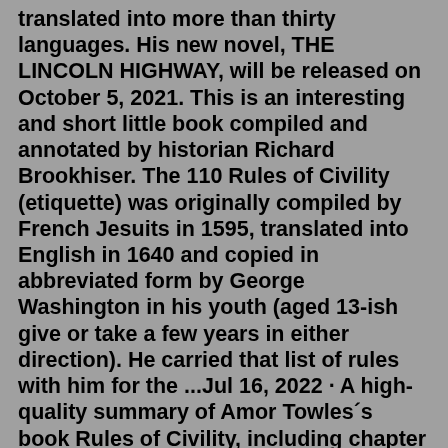translated into more than thirty languages. His new novel, THE LINCOLN HIGHWAY, will be released on October 5, 2021. This is an interesting and short little book compiled and annotated by historian Richard Brookhiser. The 110 Rules of Civility (etiquette) was originally compiled by French Jesuits in 1595, translated into English in 1640 and copied in abbreviated form by George Washington in his youth (aged 13-ish give or take a few years in either direction). He carried that list of rules with him for the ...Jul 16, 2022 · A high-quality summary of Amor Towles´s book Rules of Civility, including chapter details and analysis of the main themes of the original book.About the original book:A "sharply stylish" (Boston Globe) book about a young woman in post-Depression e... 'Rules of Civility' was the first book to be written by Amor Towles and was published by Viking/Penguin in July 2011. It went the bestseller lists of The New York Times along with the Los Angeles Times and the Boston Globe. The Wall Street